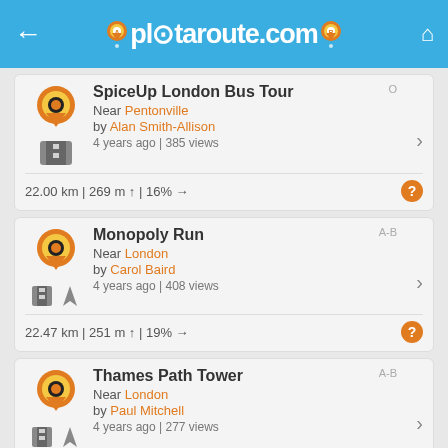plotaroute.com
SpiceUp London Bus Tour
Near Pentonville
by Alan Smith-Allison
4 years ago | 385 views
22.00 km | 269 m ↑ | 16% →
Monopoly Run
Near London
by Carol Baird
4 years ago | 408 views
22.47 km | 251 m ↑ | 19% →
Thames Path Tower
Near London
by Paul Mitchell
4 years ago | 277 views
8.20 km | 96 m ↑ | 15% →
London Bridge To
Near London
by Paul Mitchell